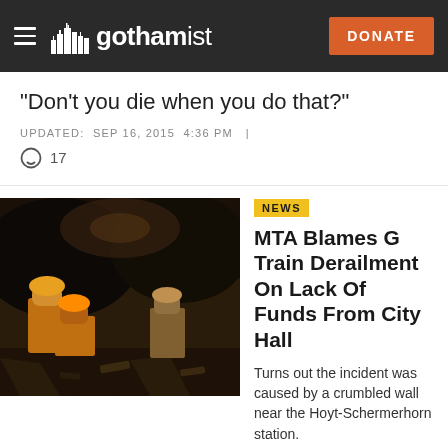gothamist — DONATE
"Don't you die when you do that?"
UPDATED: SEP 16, 2015 4:36 PM | 17
[Figure (photo): Workers in hard hats and safety vests working in a dark tunnel or underground space with rubble]
NEWS
MTA Blames G Train Derailment On Lack Of Funds From City Hall
Turns out the incident was caused by a crumbled wall near the Hoyt-Schermerhorn station.
UPDATED: SEP 12, 2015 5:52 PM | 6